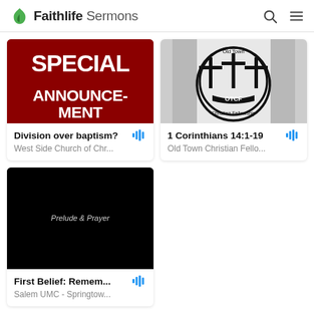Faithlife Sermons
[Figure (screenshot): Red background image with bold white text reading SPECIAL ANNOUNCEMENT]
Division over baptism?
West Side Church of Chr...
[Figure (logo): Old Town Christian Fellowship logo with three crosses and OTCF text]
1 Corinthians 14:1-19
Old Town Christian Fello...
[Figure (screenshot): Black image with white italic text Prelude & Prayer]
First Belief: Remem...
Salem UMC - Springtow...